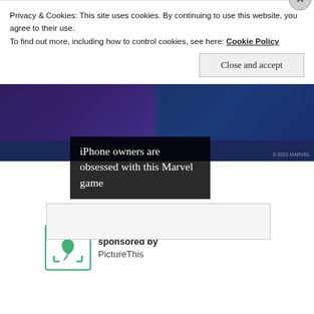[Figure (screenshot): Marvel game advertisement showing two characters: Valkyrie (Hero, Cosmic, Skill, Brawler, Asgardian) with gold stars on left, and Mighty Thor (Hero, Cosmic, Mystic, Controller, Asgardian) with gold stars on right, on a dark blue/purple background]
iPhone owners are obsessed with this Marvel game
sponsored by
PictureThis
Privacy & Cookies: This site uses cookies. By continuing to use this website, you agree to their use.
To find out more, including how to control cookies, see here: Cookie Policy
Close and accept